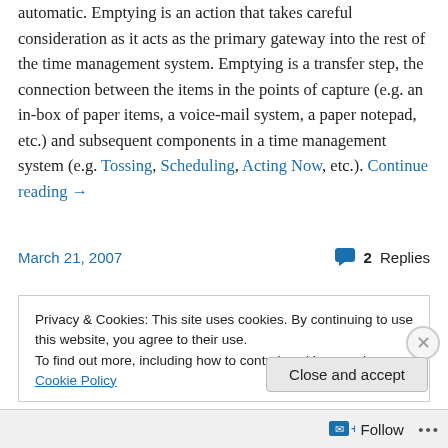automatic. Emptying is an action that takes careful consideration as it acts as the primary gateway into the rest of the time management system. Emptying is a transfer step, the connection between the items in the points of capture (e.g. an in-box of paper items, a voice-mail system, a paper notepad, etc.) and subsequent components in a time management system (e.g. Tossing, Scheduling, Acting Now, etc.). Continue reading →
March 21, 2007   2 Replies
Privacy & Cookies: This site uses cookies. By continuing to use this website, you agree to their use.
To find out more, including how to control cookies, see here: Cookie Policy
Close and accept
Follow ···